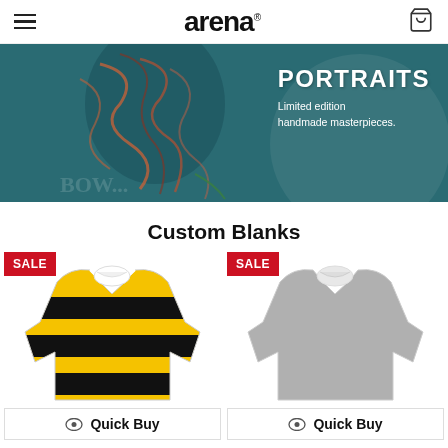arena
[Figure (photo): Banner image with dark teal background showing a typographic portrait with the word PORTRAITS in bold white text and subtitle 'Limited edition handmade masterpieces.']
Custom Blanks
[Figure (photo): Yellow and black striped long-sleeve rugby polo shirt with white collar. SALE badge in red top-left corner.]
[Figure (photo): Grey long-sleeve rugby polo shirt with white collar. SALE badge in red top-left corner.]
Quick Buy
Quick Buy